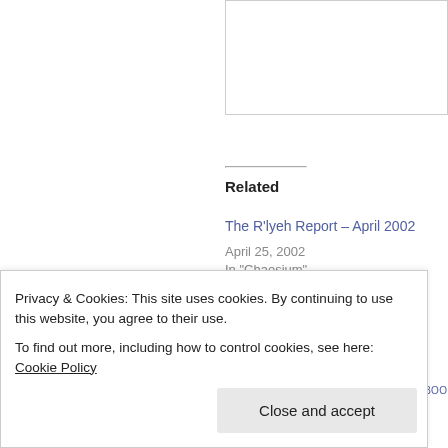[Figure (other): Partial image/box visible in top right area of page]
Related
The R'lyeh Report – April 2002
April 25, 2002
In "Chaosium"
Chaosium News & Rumors
November 2, 2001
In "Chaosium"
POSTED IN CONVENTIONS, PULPCON, BOO...
Privacy & Cookies: This site uses cookies. By continuing to use this website, you agree to their use.
To find out more, including how to control cookies, see here: Cookie Policy
Close and accept